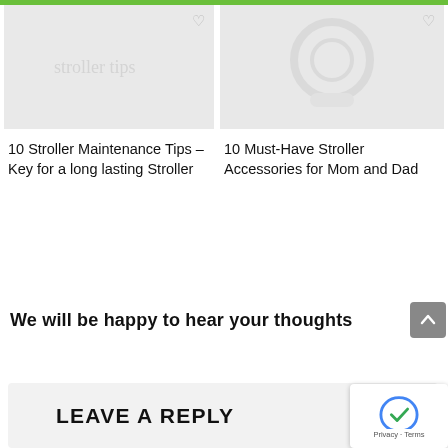[Figure (screenshot): Left article card image – faint stroller/cursive text on light gray background]
10 Stroller Maintenance Tips – Key for a long lasting Stroller
[Figure (screenshot): Right article card image – faint stroller silhouette on light gray background]
10 Must-Have Stroller Accessories for Mom and Dad
We will be happy to hear your thoughts
LEAVE A REPLY